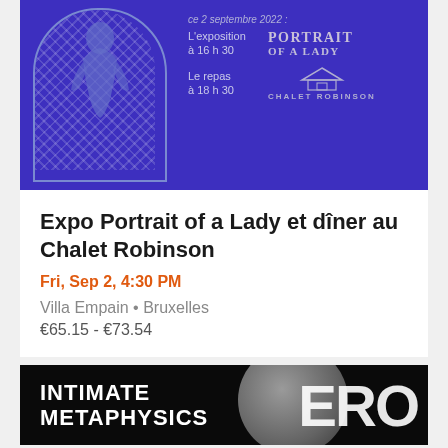[Figure (illustration): Event promotional banner with purple background showing an ornate arch with lace pattern and a figure, with text: 'ce 2 septembre 2022 : L'exposition à 16 h 30 PORTRAIT OF A LADY, Le repas à 18 h 30 CHALET ROBINSON']
Expo Portrait of a Lady et dîner au Chalet Robinson
Fri, Sep 2, 4:30 PM
Villa Empain • Bruxelles
€65.15 - €73.54
[Figure (illustration): Dark space-themed promotional banner with text 'INTIMATE METAPHYSICS' on left and large stylized letters 'ERO' or similar on the right, with a moon/planet visible]